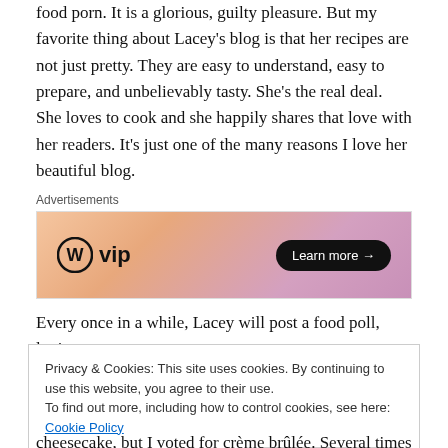food porn. It is a glorious, guilty pleasure. But my favorite thing about Lacey’s blog is that her recipes are not just pretty. They are easy to understand, easy to prepare, and unbelievably tasty. She’s the real deal. She loves to cook and she happily shares that love with her readers. It’s just one of the many reasons I love her beautiful blog.
[Figure (other): WordPress VIP advertisement banner with gradient orange-pink background, WordPress logo (circle W), 'vip' text, and 'Learn more →' button]
Every once in a while, Lacey will post a food poll, letting
Privacy & Cookies: This site uses cookies. By continuing to use this website, you agree to their use.
To find out more, including how to control cookies, see here: Cookie Policy
cheesecake, but I voted for crème brülée. Several times